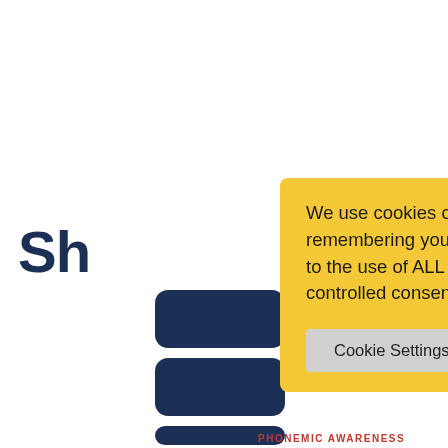Sh
[Figure (illustration): Dark navy blue rounded rectangle pills/list items on the left side of the page]
We use cookies on our website to give you the most relevant experience by remembering your preferences and repeat visits. By clicking “Accept All”, you consent to the use of ALL the cookies. However, you may visit “Cookie Settings” to provide a controlled consent.
Cookie Settings
Accept All
PHONEMIC AWARENESS